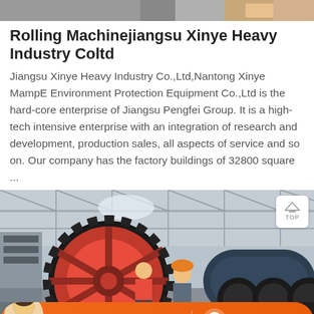[Figure (photo): Top partial image strip showing what appears to be industrial/factory scene at the very top of the page]
Rolling Machinejiangsu Xinye Heavy Industry Coltd
Jiangsu Xinye Heavy Industry Co.,Ltd,Nantong Xinye MampE Environment Protection Equipment Co.,Ltd is the hard-core enterprise of Jiangsu Pengfei Group. It is a high-tech intensive enterprise with an integration of research and development, production sales, all aspects of service and so on. Our company has the factory buildings of 32800 square ...
[Figure (photo): Factory interior photo showing workers in hard hats working near large industrial red gear/mill machinery in a factory workshop with metal roof structure visible]
Message
Online Chat